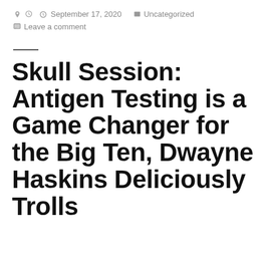September 17, 2020   Uncategorized   Leave a comment
Skull Session: Antigen Testing is a Game Changer for the Big Ten, Dwayne Haskins Deliciously Trolls